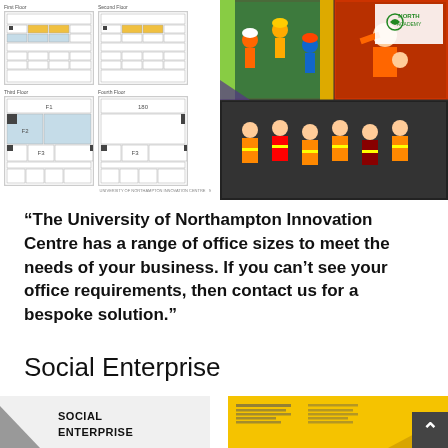[Figure (engineering-diagram): Four floor plan diagrams of University of Northampton Innovation Centre showing office layouts on different floors with some rooms highlighted in yellow/gold]
[Figure (photo): Collage of activity photos showing people in hard hats at a climbing wall, construction workers in hi-vis vests, and a company logo/sign]
“The University of Northampton Innovation Centre has a range of office sizes to meet the needs of your business. If you can’t see your office requirements, then contact us for a bespoke solution.”
Social Enterprise
[Figure (logo): Social Enterprise text logo with grey triangle/arrow shape to the left]
[Figure (photo): Yellow document/brochure for University of Northampton with text and triangular graphic element]